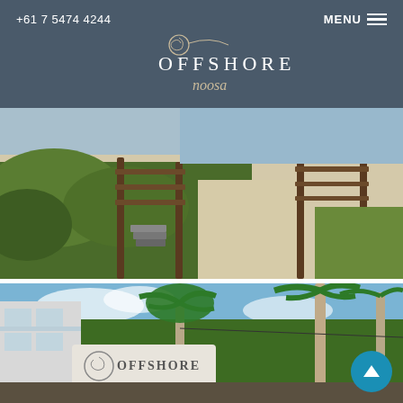+61 7 5474 4244   MENU
[Figure (logo): Offshore Noosa logo with decorative swirl and script text on dark grey-blue header background]
[Figure (photo): Coastal beach scene with wooden boardwalk/railing structure, sandy beach visible, green foliage in foreground]
[Figure (photo): Outdoor shot of Offshore Noosa property entrance sign with tall palm trees and blue sky, white building visible on left]